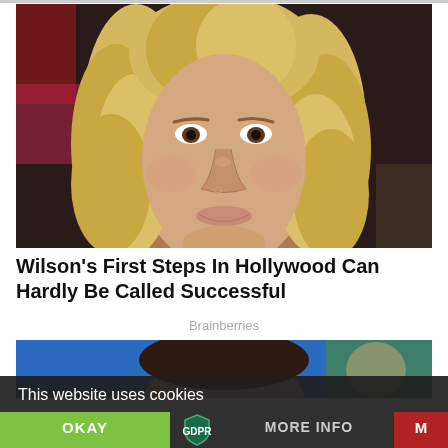[Figure (photo): Close-up portrait of a person with wavy blonde hair and a serious expression, wearing a lanyard around their neck, dark background.]
Wilson's First Steps In Hollywood Can Hardly Be Called Successful
Brainberries
[Figure (photo): Partial screenshot showing the top of a person's head with dark hair against a blue background, partially obscured by cookie consent overlay.]
This website uses cookies
OKAY
MORE INFO